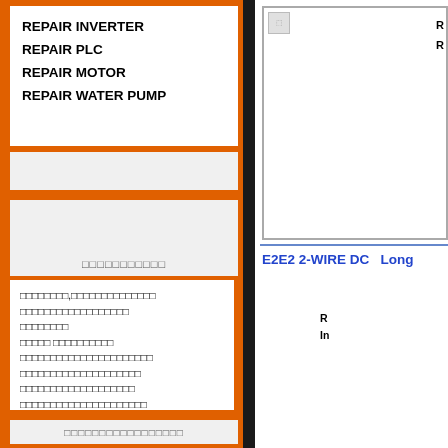REPAIR INVERTER
REPAIR PLC
REPAIR MOTOR
REPAIR WATER PUMP
[Figure (screenshot): Product image placeholder (broken image icon) showing a white box with a small broken image icon in top-left corner, and partial text 'R' and 'R' on the right side.]
E2E2 2-WIRE DC   Long
R
In